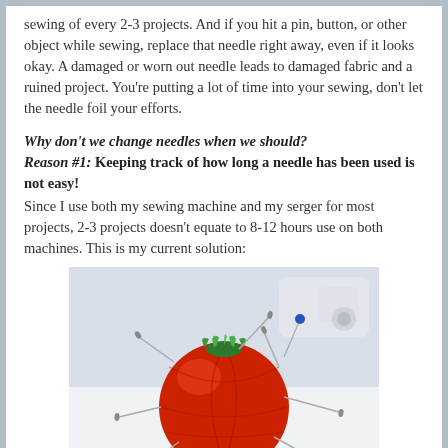sewing of every 2-3 projects. And if you hit a pin, button, or other object while sewing, replace that needle right away, even if it looks okay. A damaged or worn out needle leads to damaged fabric and a ruined project. You're putting a lot of time into your sewing, don't let the needle foil your efforts.
Why don't we change needles when we should? Reason #1: Keeping track of how long a needle has been used is not easy!
Since I use both my sewing machine and my serger for most projects, 2-3 projects doesn't equate to 8-12 hours use on both machines. This is my current solution:
[Figure (photo): A red tomato-shaped pin cushion with multiple sewing needles and pins stuck into it, sitting on a white surface near a sewing machine.]